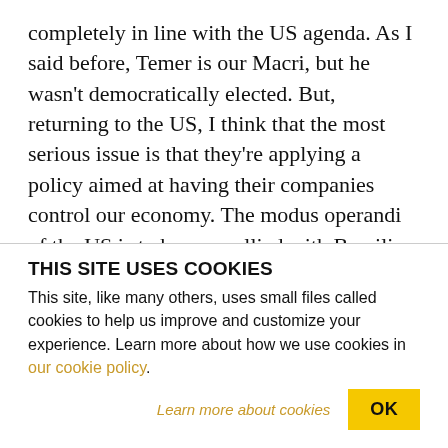completely in line with the US agenda. As I said before, Temer is our Macri, but he wasn't democratically elected. But, returning to the US, I think that the most serious issue is that they're applying a policy aimed at having their companies control our economy. The modus operandi of the US is to become allied with Brazilian parliamentarians to achieve that domination. That's what happened with the oil company Chevron, which is lobbying through Senator José Serra, of the Brazilian Social Democracy Party, to promote the modification of the oil law to
THIS SITE USES COOKIES
This site, like many others, uses small files called cookies to help us improve and customize your experience. Learn more about how we use cookies in our cookie policy.
Learn more about cookies   OK